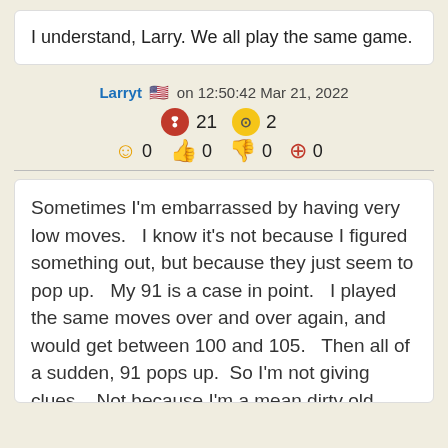I understand, Larry. We all play the same game.
Larryt 🇺🇸 on 12:50:42 Mar 21, 2022
21  2
0  0  0  0
Sometimes I'm embarrassed by having very low moves.   I know it's not because I figured something out, but because they just seem to pop up.   My 91 is a case in point.   I played the same moves over and over again, and would get between 100 and 105.   Then all of a sudden, 91 pops up.  So I'm not giving clues.   Not because I'm a mean dirty old man, but because I have no